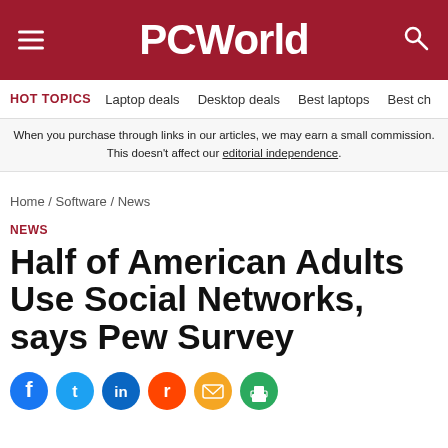PCWorld
HOT TOPICS  Laptop deals  Desktop deals  Best laptops  Best ch
When you purchase through links in our articles, we may earn a small commission. This doesn't affect our editorial independence.
Home / Software / News
NEWS
Half of American Adults Use Social Networks, says Pew Survey
[Figure (other): Social media share icons: Facebook, Twitter, LinkedIn, Reddit, Email, Print]